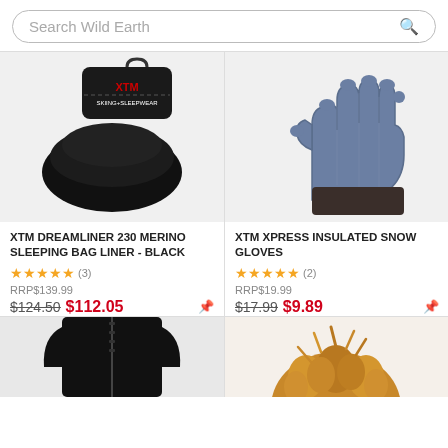Search Wild Earth
[Figure (photo): XTM Dreamliner 230 Merino Sleeping Bag Liner in black, rolled up with carry case]
XTM DREAMLINER 230 MERINO SLEEPING BAG LINER - BLACK
★★★★★ (3)
RRP$139.99
$124.50 $112.05
[Figure (photo): XTM Xpress Insulated Snow Gloves in dark blue/grey]
XTM XPRESS INSULATED SNOW GLOVES
★★★★★ (2)
RRP$19.99
$17.99 $9.89
[Figure (photo): Black zip-up top garment, partially visible at bottom of page]
[Figure (photo): Furry/fluffy brown hat or accessory, partially visible at bottom of page]